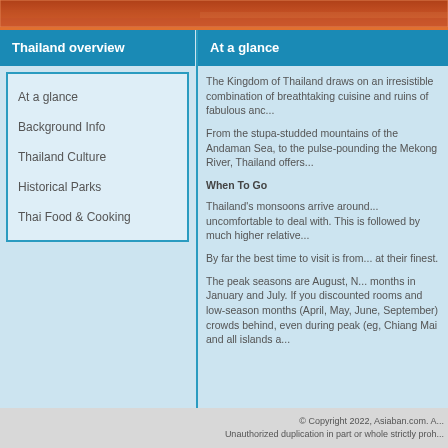[Figure (photo): Top banner image of Thailand landscape in orange/brown tones]
Thailand overview
At a glance
At a glance
Background Info
Thailand Culture
Historical Parks
Thai Food & Cooking
The Kingdom of Thailand draws on an irresistible combination of breathtaking cuisine and ruins of fabulous anc...
From the stupa-studded mountains of the Andaman Sea, to the pulse-pounding Mekong River, Thailand offers...
When To Go
Thailand's monsoons arrive around... uncomfortable to deal with. This is followed by much higher relative...
By far the best time to visit is from... at their finest.
The peak seasons are August, N... months in January and July. If you discounted rooms and low-season months (April, May, June, September) crowds behind, even during peak (eg, Chiang Mai and all islands a...
© Copyright 2022, Asiaban.com. A... Unauthorized duplication in part or whole strictly proh...